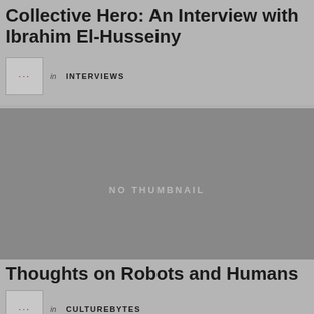Collective Hero: An Interview with Ibrahim El-Husseiny
in INTERVIEWS
[Figure (photo): Large gray placeholder image with text NO THUMBNAIL]
Thoughts on Robots and Humans
in CULTUREBYTES